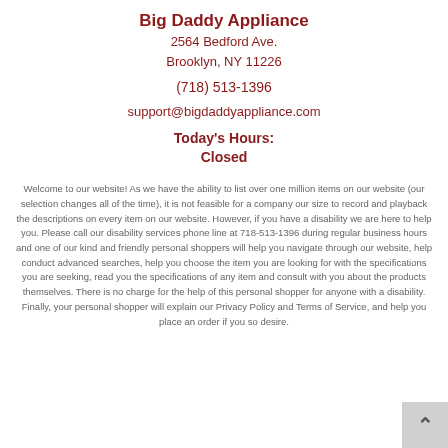Big Daddy Appliance
2564 Bedford Ave.
Brooklyn, NY 11226
(718) 513-1396
support@bigdaddyappliance.com
Today's Hours:
Closed
Welcome to our website! As we have the ability to list over one million items on our website (our selection changes all of the time), it is not feasible for a company our size to record and playback the descriptions on every item on our website. However, if you have a disability we are here to help you. Please call our disability services phone line at 718-513-1396 during regular business hours and one of our kind and friendly personal shoppers will help you navigate through our website, help conduct advanced searches, help you choose the item you are looking for with the specifications you are seeking, read you the specifications of any item and consult with you about the products themselves. There is no charge for the help of this personal shopper for anyone with a disability. Finally, your personal shopper will explain our Privacy Policy and Terms of Service, and help you place an order if you so desire.